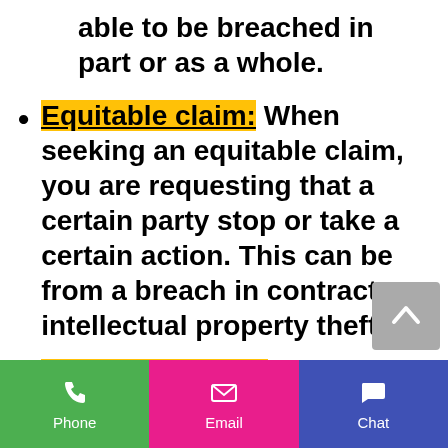able to be breached in part or as a whole.
Equitable claim: When seeking an equitable claim, you are requesting that a certain party stop or take a certain action. This can be from a breach in contract or intellectual property theft.
Landlord/Tenant: If there has been a dispute...